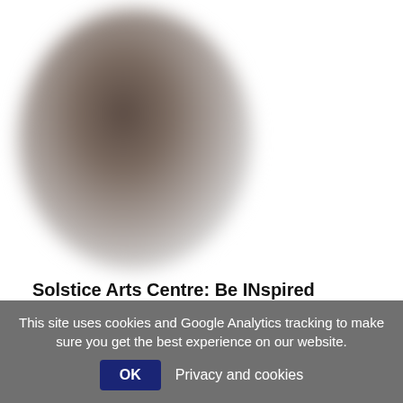[Figure (photo): Blurred oval/circular photo of a dark subject (appears to be a person or object) with heavy blur/bokeh effect against a white background]
Solstice Arts Centre: Be INspired
Adult • Craft • Kids • Teens • Visual
Add to my list
This site uses cookies and Google Analytics tracking to make sure you get the best experience on our website.
OK  Privacy and cookies